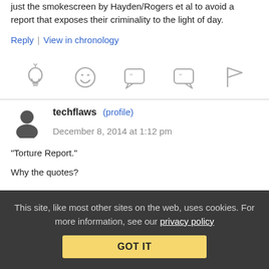just the smokescreen by Hayden/Rogers et al to avoid a report that exposes their criminality to the light of day.
Reply | View in chronology
[Figure (infographic): Row of five gray icons: lightbulb, laughing emoji, left quote bubble, right quote bubble, flag]
techflaws (profile) December 8, 2014 at 1:12 pm
“Torture Report.”

Why the quotes?
This site, like most other sites on the web, uses cookies. For more information, see our privacy policy GOT IT